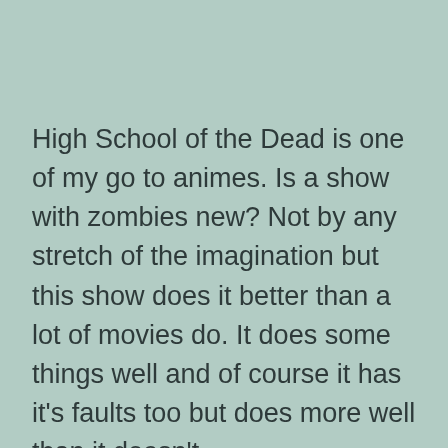High School of the Dead is one of my go to animes. Is a show with zombies new? Not by any stretch of the imagination but this show does it better than a lot of movies do. It does some things well and of course it has it's faults too but does more well than it doesn't.
The show revolves around a group of students who go to school as if it's an ordinary day but end up in a zombie apocalypse. This is not a moe version of zombies like School Live! This is a much more hardcore zombie fest with